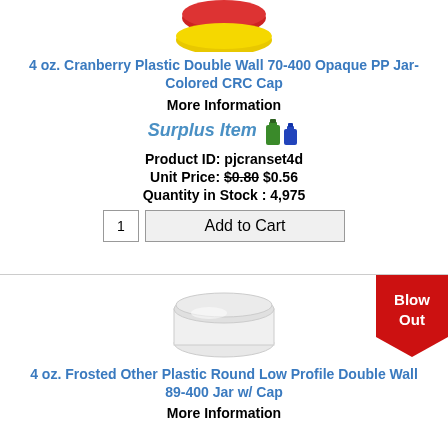[Figure (photo): Top portion of a cranberry plastic double wall jar with colored caps (red and yellow lids visible at top)]
4 oz. Cranberry Plastic Double Wall 70-400 Opaque PP Jar-Colored CRC Cap
More Information
[Figure (logo): Surplus Item logo with two bottle icons]
Product ID: pjcranset4d
Unit Price: $0.80 $0.56
Quantity in Stock : 4,975
[Figure (photo): Blow Out badge - red pennant shape in top right corner]
[Figure (photo): 4 oz frosted round low profile double wall jar with cap - clear/frosted plastic jar]
4 oz. Frosted Other Plastic Round Low Profile Double Wall 89-400 Jar w/ Cap
More Information